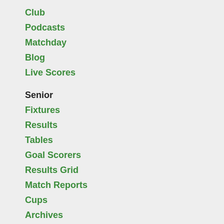Club
Podcasts
Matchday
Blog
Live Scores
Senior
Fixtures
Results
Tables
Goal Scorers
Results Grid
Match Reports
Cups
Archives
Development
Fixtures
Results